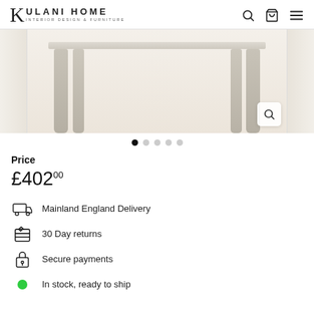KULANI HOME INTERIOR DESIGN & FURNITURE
[Figure (photo): Product image showing legs of a white/cream wooden table with turned spindle legs, on a light background. Image carousel with navigation dots.]
Price
£402.00
Mainland England Delivery
30 Day returns
Secure payments
In stock, ready to ship